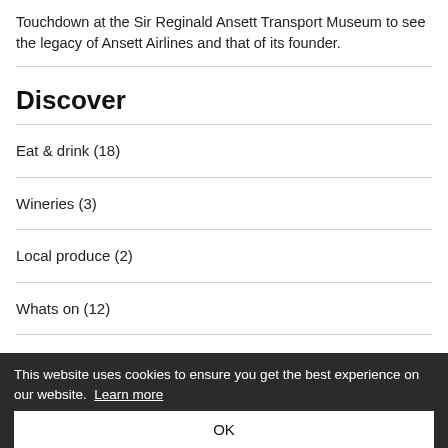Touchdown at the Sir Reginald Ansett Transport Museum to see the legacy of Ansett Airlines and that of its founder.
Discover
Eat & drink (18)
Wineries (3)
Local produce (2)
Whats on (12)
This website uses cookies to ensure you get the best experience on our website. Learn more
OK